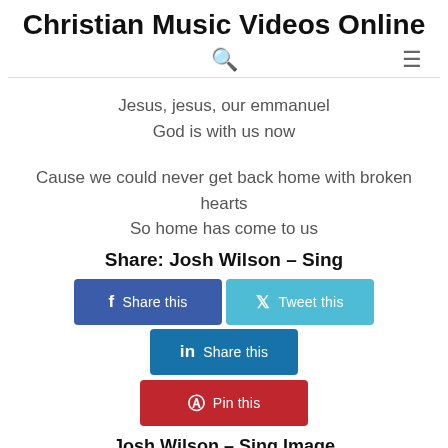Christian Music Videos Online
Jesus, jesus, our emmanuel
God is with us now
Cause we could never get back home with broken hearts
So home has come to us
Share: Josh Wilson – Sing
Share this | Tweet this | Share this | Pin this
Josh Wilson – Sing Image